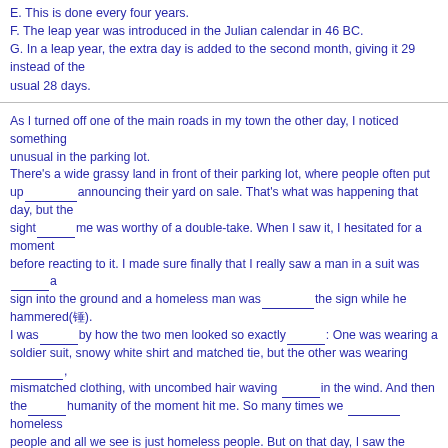E. This is done every four years.
F. The leap year was introduced in the Julian calendar in 46 BC.
G. In a leap year, the extra day is added to the second month, giving it 29 instead of the usual 28 days.
As I turned off one of the main roads in my town the other day, I noticed something unusual in the parking lot. There's a wide grassy land in front of their parking lot, where people often put up______announcing their yard on sale. That's what was happening that day, but the sight______me was worthy of a double-take. When I saw it, I hesitated for a moment before reacting to it. I made sure finally that I really saw a man in a suit was______a sign into the ground and a homeless man was______the sign while he hammered(锤). I was______by how the two men looked so exactly______: One was wearing a soldier suit, snowy white shirt and matched tie, but the other was wearing______, mismatched clothing, with uncombed hair waving ______in the wind. And then the______humanity of the moment hit me. So many times we ______homeless people and all we see is just homeless people. But on that day, I saw the kindness of a man who walked over to help someone. The moment really ________me, and it was a fresh reminder to look ________ the outward appearance and see the person instead. A friend and I had the ________a few years ago to write a study guide to a book. It's an amazing book. That was evident from the first page when I read the dedication (题词) and it_________, "To Titus, who taught me to cheer for humanity." Wow, ________more of us did that? Can you imagine a ________it would make in our world? In one of the chapters, Sammy tells about sitting in large crowds at places, like shops and airports, and________for humanity. It does ________things. Just imagine an old lady down the street becomes a wounded soul, who just needs someone to ________and a homeless person on the street becomes a real person, someone who needs ________ and a helping hand.
1.A. trees B. signs C. houses D. decorations
2.A. in front of B. in love with C. in honor of D. in connection with